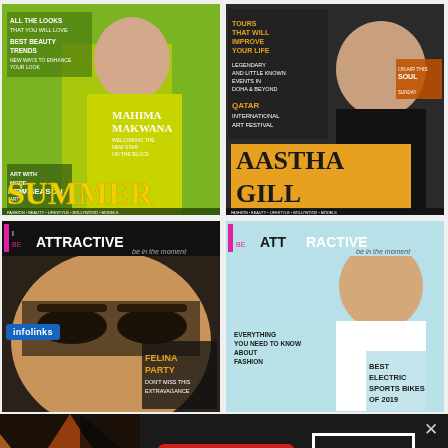[Figure (screenshot): Magazine cover with woman in yellow jacket on green background. Text: ALL THE LOOKS THAT YOU WILL LOVE, BEST BEAUTY TRENDS, NEW WAYS TO ENHANCE YOUR LOOK, ART WITH MORE BY PICKIN ARTS, MAHIMA MAKWANA WELCOMING THE NEW STAR ON THE BLOCK, NEW SEASON SUMMER]
[Figure (screenshot): Magazine cover with woman in black dress holding microphone. Text: TOURS THAT WILL IMPROVE YOUR LIFE, LEGENDARY AND LITTLE KNOWN EVENTS IN DOHA & BEYOND, QATAR INTERNATIONAL ART FESTIVAL, AASTHA GILL]
[Figure (screenshot): Magazine cover BE ATTRACTIVE be in the moment - woman close up with eyes, FELINA PARTY]
[Figure (screenshot): Magazine cover BE ATTRACTIVE be in the moment - man in white shirt smiling. Text: EVERYTHING YOU NEED TO KNOW ABOUT FASHION, BEST ELECTRIC SPORTS BIKES OF 2019]
[Figure (screenshot): Advertisement banner: food/pizza image on left, seamless red button in center, ORDER NOW button on right, infolinks badge]